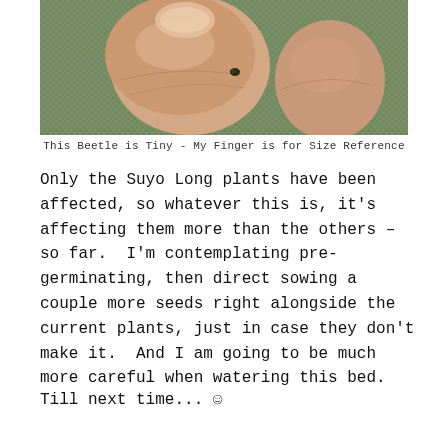[Figure (photo): Close-up photo of fingers holding a tiny beetle, with a mesh/screen background visible. A finger is shown for size reference next to the small beetle.]
This Beetle is Tiny - My Finger is for Size Reference
Only the Suyo Long plants have been affected, so whatever this is, it's affecting them more than the others – so far.  I'm contemplating pre-germinating, then direct sowing a couple more seeds right alongside the current plants, just in case they don't make it.  And I am going to be much more careful when watering this bed.
Till next time... ☺